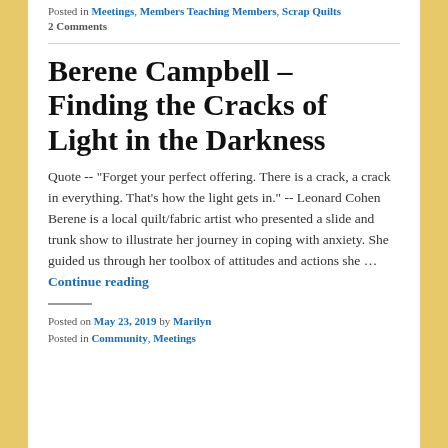Posted in Meetings, Members Teaching Members, Scrap Quilts
2 Comments
Berene Campbell – Finding the Cracks of Light in the Darkness
Quote -- "Forget your perfect offering. There is a crack, a crack in everything. That's how the light gets in." -- Leonard Cohen Berene is a local quilt/fabric artist who presented a slide and trunk show to illustrate her journey in coping with anxiety. She guided us through her toolbox of attitudes and actions she … Continue reading
Posted on May 23, 2019 by Marilyn
Posted in Community, Meetings